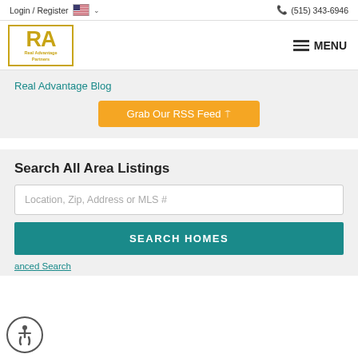Login / Register  (515) 343-6946
[Figure (logo): Real Advantage Partners logo — gold RA letters in a gold-bordered box with text 'Real Advantage Partners']
MENU
Real Advantage Blog
Grab Our RSS Feed
Search All Area Listings
Location, Zip, Address or MLS #
SEARCH HOMES
anced Search